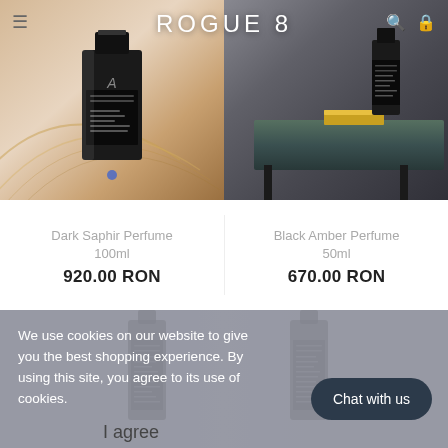ROGUE 8
[Figure (photo): Dark Saphir Perfume bottle on warm golden/sandy background with curved metallic arcs]
[Figure (photo): Black Amber Perfume bottle on dark marble table with grey/moody background]
Dark Saphir Perfume 100ml
920.00 RON
Black Amber Perfume 50ml
670.00 RON
We use cookies on our website to give you the best shopping experience. By using this site, you agree to its use of cookies.
I agree
Chat with us
[Figure (photo): Two perfume bottles visible behind the cookie consent banner overlay]